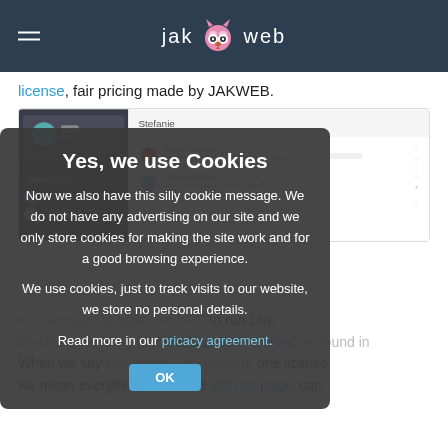jak web
license, fair pricing made by JAKWEB.
[Figure (screenshot): Screenshot of a live chat interface showing a conversation between System and Stefanie, with a queue panel on the left.]
Yes, we use Cookies
Now we also have this silly cookie message. We do not have any advertising on our site and we only store cookies for making the site work and for a good browsing experience.
We use cookies, just to track visits to our website, we store no personal details.
Read more in our pricacy agreement.
... to run Live ... he found in the dedicated ... Live Chat PHP Server. ... When we say everything... included in one license we mean everything. From the sign up page, can